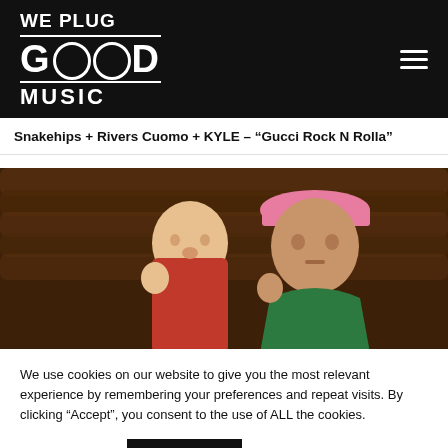WE PLUG GOOD MUSIC
Snakehips + Rivers Cuomo + KYLE – “Gucci Rock N Rolla”
[Figure (photo): Two men in a rustic cabin setting — one wearing a pink cap in the foreground, another in a red shirt behind him, photo from the music video for Gucci Rock N Rolla]
We use cookies on our website to give you the most relevant experience by remembering your preferences and repeat visits. By clicking “Accept”, you consent to the use of ALL the cookies.
Cookie settings
ACCEPT